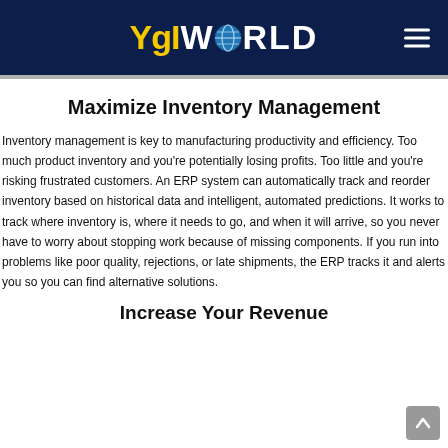YgI WORLD
Maximize Inventory Management
Inventory management is key to manufacturing productivity and efficiency. Too much product inventory and you're potentially losing profits. Too little and you're risking frustrated customers. An ERP system can automatically track and reorder inventory based on historical data and intelligent, automated predictions. It works to track where inventory is, where it needs to go, and when it will arrive, so you never have to worry about stopping work because of missing components. If you run into problems like poor quality, rejections, or late shipments, the ERP tracks it and alerts you so you can find alternative solutions.
Increase Your Revenue